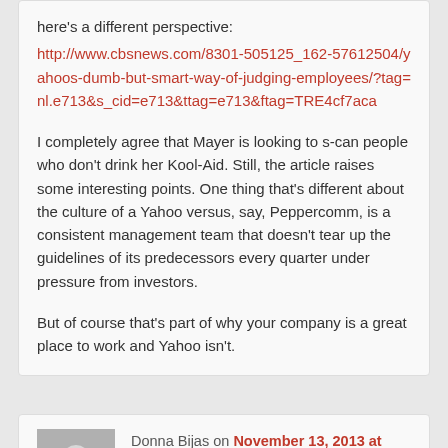here's a different perspective:
http://www.cbsnews.com/8301-505125_162-57612504/yahoos-dumb-but-smart-way-of-judging-employees/?tag=nl.e713&s_cid=e713&ttag=e713&ftag=TRE4cf7aca
I completely agree that Mayer is looking to s-can people who don’t drink her Kool-Aid. Still, the article raises some interesting points. One thing that’s different about the culture of a Yahoo versus, say, Peppercomm, is a consistent management team that doesn’t tear up the guidelines of its predecessors every quarter under pressure from investors.
But of course that’s part of why your company is a great place to work and Yahoo isn’t.
Donna Bijas on November 13, 2013 at 2:25 pm
said: